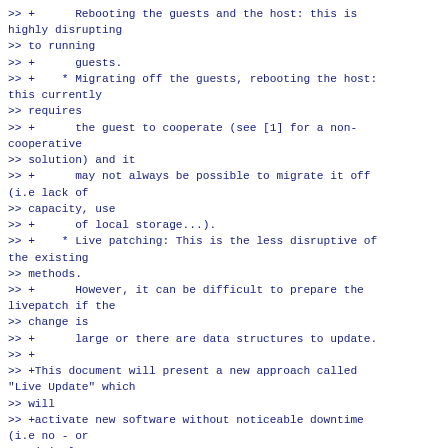>> +      Rebooting the guests and the host: this is highly disrupting
>> to running
>> +      guests.
>> +    * Migrating off the guests, rebooting the host: this currently
>> requires
>> +      the guest to cooperate (see [1] for a non-cooperative
>> solution) and it
>> +      may not always be possible to migrate it off (i.e lack of
>> capacity, use
>> +      of local storage...).
>> +    * Live patching: This is the less disruptive of the existing
>> methods.
>> +      However, it can be difficult to prepare the livepatch if the
>> change is
>> +      large or there are data structures to update.
>> +
>> +This document will present a new approach called "Live Update" which
>> will
>> +activate new software without noticeable downtime (i.e no - or
>> minimal -
>> +customer pain).
>> +
>> +## Terminology